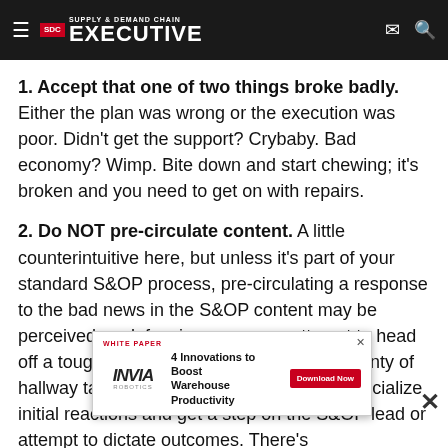Supply & Demand Chain Executive
1. Accept that one of two things broke badly. Either the plan was wrong or the execution was poor. Didn't get the support? Crybaby. Bad economy? Wimp. Bite down and start chewing; it's broken and you need to get on with repairs.
2. Do NOT pre-circulate content. A little counterintuitive here, but unless it's part of your standard S&OP process, pre-circulating a response to the bad news in the S&OP content may be perceived as defensiveness or an attempt to head off a tough meeting. There's bound to be plenty of hallway talk; use that as an opportunity to socialize initial reactions and get a step on the S&OP lead or attempt to dictate outcomes. There's
[Figure (other): Advertisement overlay: INVIA Robotics white paper - 4 Innovations to Boost Warehouse Productivity, with Download Now button]